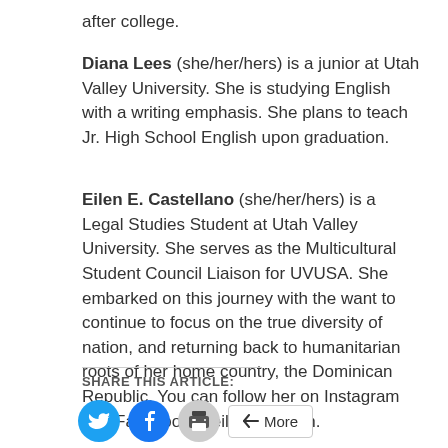after college.
Diana Lees (she/her/hers) is a junior at Utah Valley University. She is studying English with a writing emphasis. She plans to teach Jr. High School English upon graduation.
Eilen E. Castellano (she/her/hers) is a Legal Studies Student at Utah Valley University. She serves as the Multicultural Student Council Liaison for UVUSA. She embarked on this journey with the want to continue to focus on the true diversity of nation, and returning back to humanitarian roots of her home country, the Dominican Republic. You can follow her on Instagram and Facebook @eilenelizabeth.
SHARE THIS ARTICLE:
[Figure (other): Social share buttons: Twitter (blue bird icon), Facebook (blue f icon), Print (grey printer icon), More button]